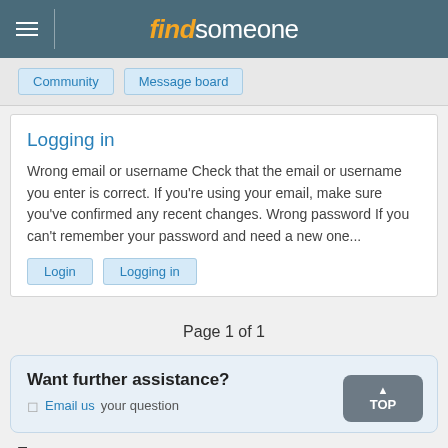findsomeone
Community
Message board
Logging in
Wrong email or username Check that the email or username you enter is correct. If you're using your email, make sure you've confirmed any recent changes. Wrong password If you can't remember your password and need a new one...
Login
Logging in
Page 1 of 1
Want further assistance?
Email us your question
Tags